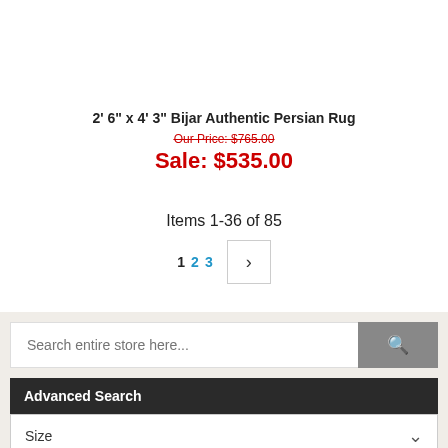2' 6" x 4' 3" Bijar Authentic Persian Rug
Our Price: $765.00
Sale: $535.00
Items 1-36 of 85
1 2 3 >
Search entire store here...
Advanced Search
Size